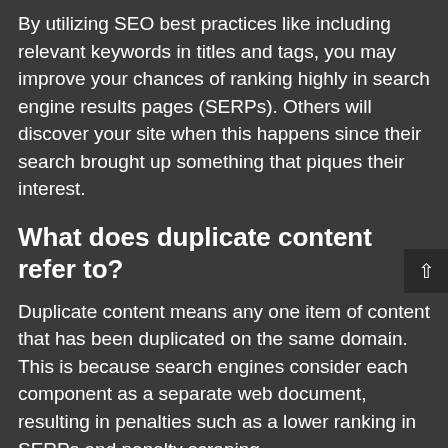By utilizing SEO best practices like including relevant keywords in titles and tags, you may improve your chances of ranking highly in search engine results pages (SERPs). Others will discover your site when this happens since their search brought up something that piques their interest.
What does duplicate content refer to?
Duplicate content means any one item of content that has been duplicated on the same domain. This is because search engines consider each component as a separate web document, resulting in penalties such as a lower ranking in SERPs and penalty scraping.